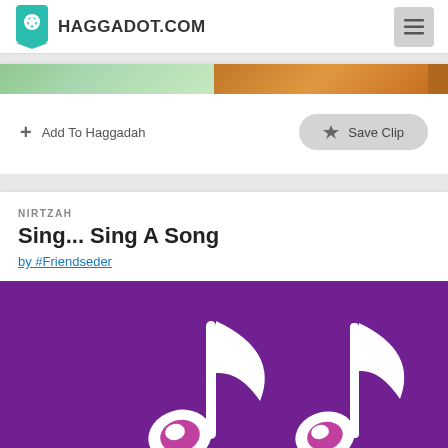HAGGADOT.COM
[Figure (screenshot): Partial card with image strip showing colorful photos and Add To Haggadah / Save Clip buttons]
NIRTZAH
Sing... Sing A Song
by #Friendseder
[Figure (illustration): Purple background with two large white musical notes]